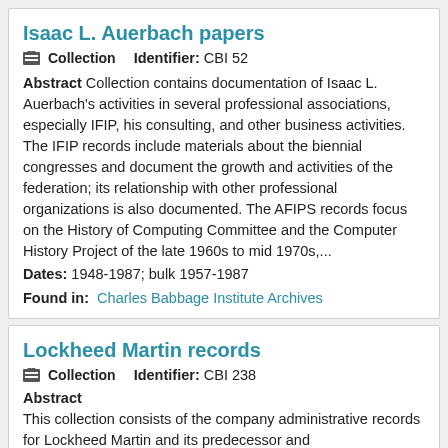Isaac L. Auerbach papers
Collection   Identifier: CBI 52
Abstract Collection contains documentation of Isaac L. Auerbach's activities in several professional associations, especially IFIP, his consulting, and other business activities. The IFIP records include materials about the biennial congresses and document the growth and activities of the federation; its relationship with other professional organizations is also documented. The AFIPS records focus on the History of Computing Committee and the Computer History Project of the late 1960s to mid 1970s,...
Dates: 1948-1987; bulk 1957-1987
Found in: Charles Babbage Institute Archives
Lockheed Martin records
Collection   Identifier: CBI 238
Abstract
This collection consists of the company administrative records for Lockheed Martin and its predecessor and